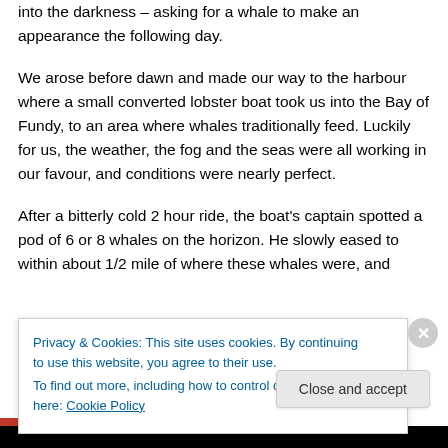into the darkness – asking for a whale to make an appearance the following day.
We arose before dawn and made our way to the harbour where a small converted lobster boat took us into the Bay of Fundy, to an area where whales traditionally feed. Luckily for us, the weather, the fog and the seas were all working in our favour, and conditions were nearly perfect.
After a bitterly cold 2 hour ride, the boat's captain spotted a pod of 6 or 8 whales on the horizon. He slowly eased to within about 1/2 mile of where these whales were, and
Privacy & Cookies: This site uses cookies. By continuing to use this website, you agree to their use.
To find out more, including how to control cookies, see here: Cookie Policy
Close and accept